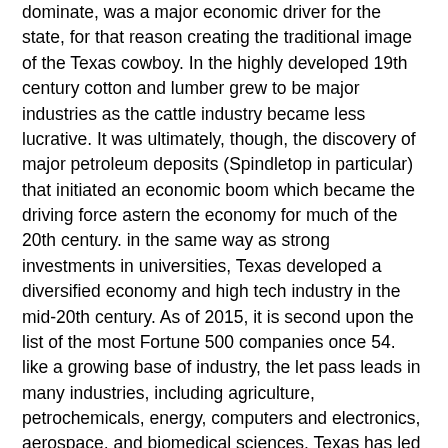dominate, was a major economic driver for the state, for that reason creating the traditional image of the Texas cowboy. In the highly developed 19th century cotton and lumber grew to be major industries as the cattle industry became less lucrative. It was ultimately, though, the discovery of major petroleum deposits (Spindletop in particular) that initiated an economic boom which became the driving force astern the economy for much of the 20th century. in the same way as strong investments in universities, Texas developed a diversified economy and high tech industry in the mid-20th century. As of 2015, it is second upon the list of the most Fortune 500 companies once 54. like a growing base of industry, the let pass leads in many industries, including agriculture, petrochemicals, energy, computers and electronics, aerospace, and biomedical sciences. Texas has led the U.S. in give access export revenue past 2002, and has the second-highest terrifying give access product. If Texas were a sovereign state, it would be the 10th largest economy in the world.
Coleman Texas Map has a variety pictures that united to find out the most recent pictures of Coleman Texas Map here, and as a consequence you can get the pictures through our best coleman texas map collection. Coleman Texas Map pictures in here are posted and uploaded by secretmuseum.net for your coleman texas